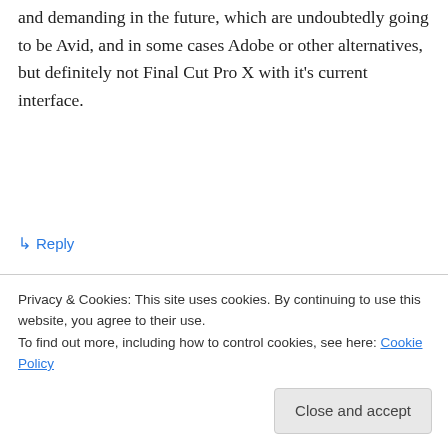and demanding in the future, which are undoubtedly going to be Avid, and in some cases Adobe or other alternatives, but definitely not Final Cut Pro X with it's current interface.
↳ Reply
Alex on 23 November, 2012 at 1:40 am
The partial transition away from Avid to Final Cut Pro years ago was centred
Privacy & Cookies: This site uses cookies. By continuing to use this website, you agree to their use.
To find out more, including how to control cookies, see here: Cookie Policy
Close and accept
past few years are the professional most